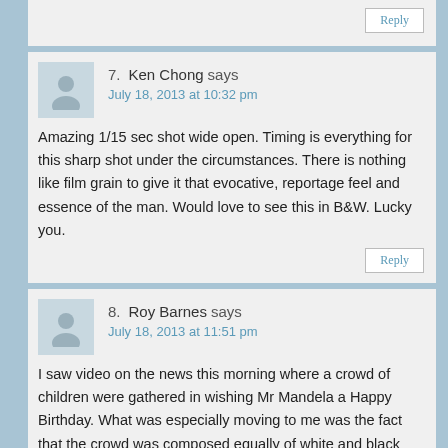Reply
7. Ken Chong says
July 18, 2013 at 10:32 pm
Amazing 1/15 sec shot wide open. Timing is everything for this sharp shot under the circumstances. There is nothing like film grain to give it that evocative, reportage feel and essence of the man. Would love to see this in B&W. Lucky you.
Reply
8. Roy Barnes says
July 18, 2013 at 11:51 pm
I saw video on the news this morning where a crowd of children were gathered in wishing Mr Mandela a Happy Birthday. What was especially moving to me was the fact that the crowd was composed equally of white and black